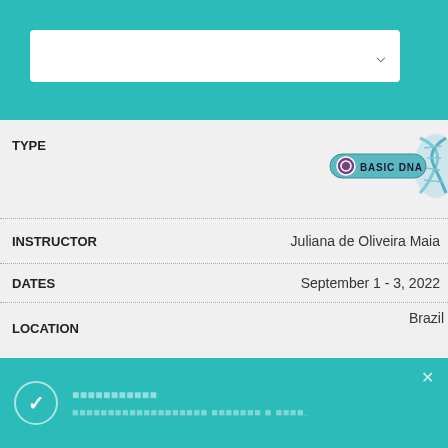[Figure (screenshot): Dropdown selector box at top with teal header bar]
| Field | Value |
| --- | --- |
| TYPE | BASIC DNA |
| INSTRUCTOR | Juliana de Oliveira Maia |
| DATES | September 1 - 3, 2022 |
| LOCATION | Brazil / ONLINE SEMINAR |
| TYPE | BASIC DNA |
| INSTRUCTOR | Noor Alamri |
| DATES | 2022 |
| LOCATION | abia / ONLINE SEMINAR |
Notification: checkbox confirmation message with Thai/encoded text